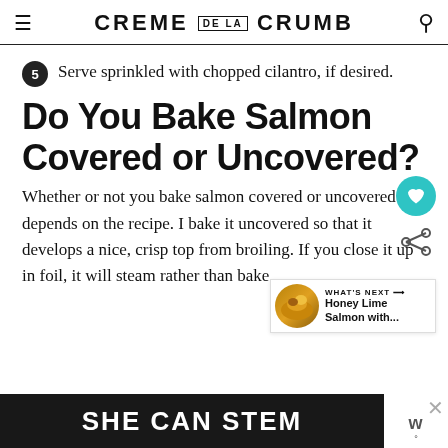CREME DE LA CRUMB
5  Serve sprinkled with chopped cilantro, if desired.
Do You Bake Salmon Covered or Uncovered?
Whether or not you bake salmon covered or uncovered depends on the recipe. I bake it uncovered so that it develops a nice, crisp top from broiling. If you close it up in foil, it will steam rather than bake.
[Figure (screenshot): SHE CAN STEM advertisement banner at the bottom of the page]
[Figure (infographic): What's Next promo box: Honey Lime Salmon with...]